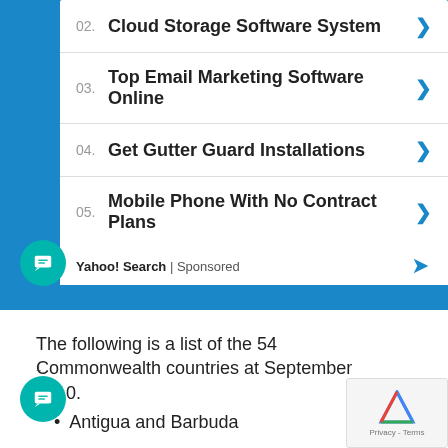[Figure (screenshot): Yahoo Search sponsored ad widget with blue background showing 4 search result links: 02. Cloud Storage Software System, 03. Top Email Marketing Software Online, 04. Get Gutter Guard Installations, 05. Mobile Phone With No Contract Plans, with Yahoo! Search | Sponsored footer]
The following is a list of the 54 Commonwealth countries at September 2010.
Antigua and Barbuda